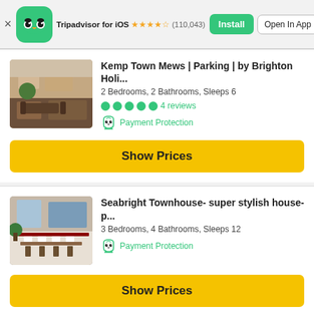Tripadvisor for iOS ★★★★½ (110,043) Install Open In App
Kemp Town Mews | Parking | by Brighton Holi...
2 Bedrooms, 2 Bathrooms, Sleeps 6
4 reviews
Payment Protection
Show Prices
Seabright Townhouse- super stylish house- p...
3 Bedrooms, 4 Bathrooms, Sleeps 12
Payment Protection
Show Prices